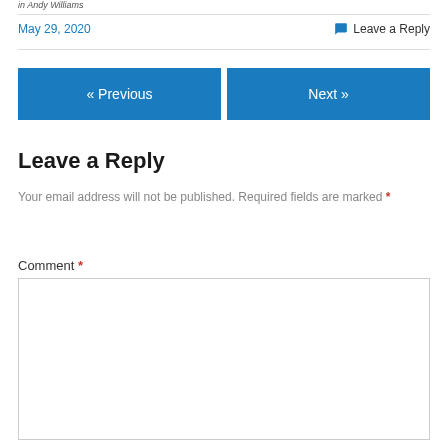in Andy Williams
May 29, 2020
Leave a Reply
« Previous
Next »
Leave a Reply
Your email address will not be published. Required fields are marked *
Comment *